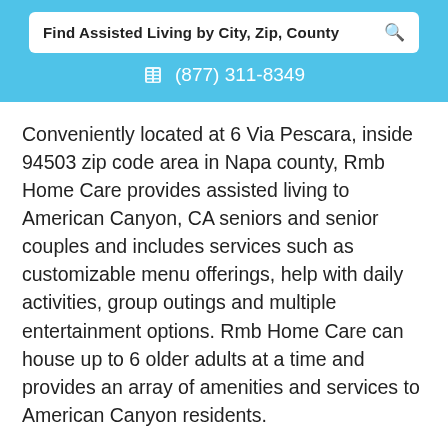Find Assisted Living by City, Zip, County
(877) 311-8349
Conveniently located at 6 Via Pescara, inside 94503 zip code area in Napa county, Rmb Home Care provides assisted living to American Canyon, CA seniors and senior couples and includes services such as customizable menu offerings, help with daily activities, group outings and multiple entertainment options. Rmb Home Care can house up to 6 older adults at a time and provides an array of amenities and services to American Canyon residents.
(877) 311-8744